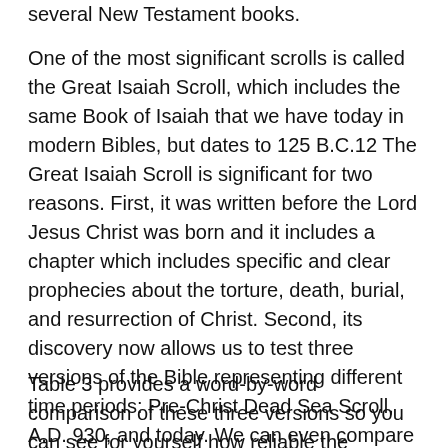several New Testament books.
One of the most significant scrolls is called the Great Isaiah Scroll, which includes the same Book of Isaiah that we have today in modern Bibles, but dates to 125 B.C.12 The Great Isaiah Scroll is significant for two reasons. First, it was written before the Lord Jesus Christ was born and it includes a chapter which includes specific and clear prophecies about the torture, death, burial, and resurrection of Christ. Second, its discovery now allows us to test three versions of the Bible representing different time periods: Pre-Christ Dead Sea Scroll, A.D. 930, and today. We can even compare how the English translation of this important text survived or changed through the years!
Table 3 provides a word-by-word comparison of these three versions so you can see for yourself how reliable the translation process has been through the millennia: